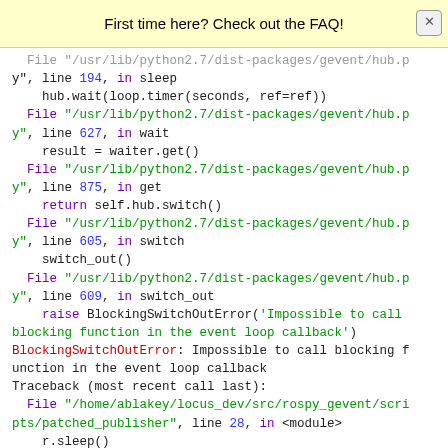First time here? Check out the FAQ!
y", line 194, in sleep
    hub.wait(loop.timer(seconds, ref=ref))
  File "/usr/lib/python2.7/dist-packages/gevent/hub.py", line 627, in wait
    result = waiter.get()
  File "/usr/lib/python2.7/dist-packages/gevent/hub.py", line 875, in get
    return self.hub.switch()
  File "/usr/lib/python2.7/dist-packages/gevent/hub.py", line 605, in switch
    switch_out()
  File "/usr/lib/python2.7/dist-packages/gevent/hub.py", line 609, in switch_out
    raise BlockingSwitchOutError('Impossible to call blocking function in the event loop callback')
BlockingSwitchOutError: Impossible to call blocking function in the event loop callback
Traceback (most recent call last):
  File "/home/ablakey/locus_dev/src/rospy_gevent/scripts/patched_publisher", line 28, in <module>
    r.sleep()
  File "/opt/ros/hotdog/lib/python2.7/dist-packages/rospy/timer.py", line 103, in sleep